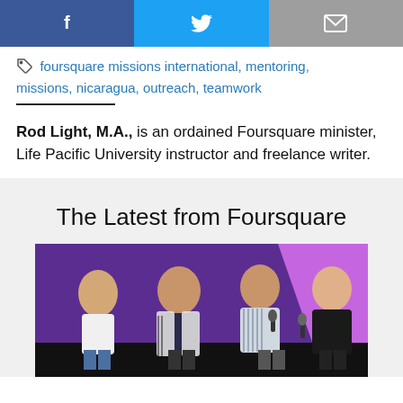[Figure (other): Social media sharing buttons: Facebook (blue), Twitter (cyan), Email (gray)]
foursquare missions international, mentoring, missions, nicaragua, outreach, teamwork
Rod Light, M.A., is an ordained Foursquare minister, Life Pacific University instructor and freelance writer.
The Latest from Foursquare
[Figure (photo): Four people standing on a stage in front of a purple backdrop. Two women on the left, a bald man, and a woman on the right holding a microphone.]